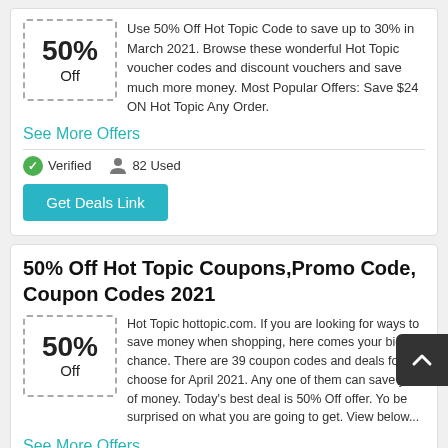[Figure (other): Coupon box showing 50% Off with dashed border]
Use 50% Off Hot Topic Code to save up to 30% in March 2021. Browse these wonderful Hot Topic voucher codes and discount vouchers and save much more money. Most Popular Offers: Save $24 ON Hot Topic Any Order.
See More Offers
Verified   82 Used
Get Deals Link
50% Off Hot Topic Coupons,Promo Code, Coupon Codes 2021
[Figure (other): Coupon box showing 50% Off with dashed border]
Hot Topic hottopic.com. If you are looking for ways to save money when shopping, here comes your big chance. There are 39 coupon codes and deals for choose for April 2021. Any one of them can save y lot of money. Today's best deal is 50% Off offer. Yo be surprised on what you are going to get. View below...
See More Offers
Verified   261 Used